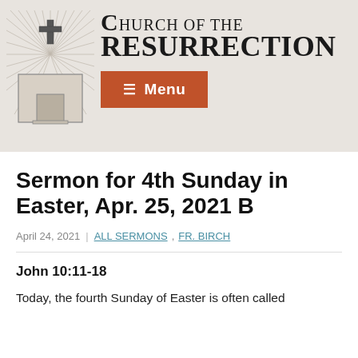[Figure (logo): Church of the Resurrection logo with cross and radiating lines, beige/grey background header with church name and orange Menu button]
Sermon for 4th Sunday in Easter, Apr. 25, 2021 B
April 24, 2021 | ALL SERMONS, FR. BIRCH
John 10:11-18
Today, the fourth Sunday of Easter is often called